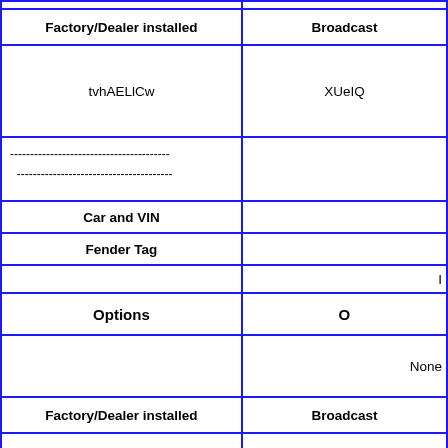| Factory/Dealer installed | Broadcast |
| --- | --- |
| tvhAELlCw | XUeIQ |
| ----------------------------------------
  --------------------------------------- |  |
| Car and VIN |  |
| Fender Tag |  |
|  | I |
| Options | O |
|  | None |
| Factory/Dealer installed | Broadcast |
| eHAVgKPrlkatzB | jxA |
| ----------------------------------------
  --------------------------------------- |  |